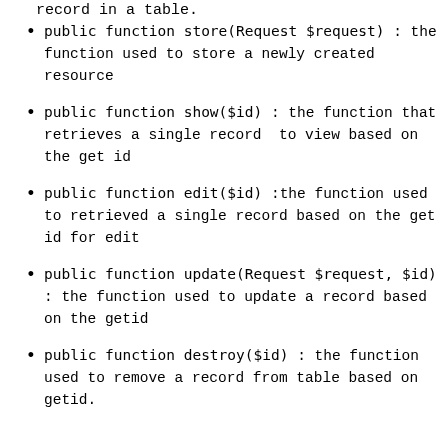record in a table.
public function store(Request $request) : the function used to store a newly created resource
public function show($id) : the function that retrieves a single record  to view based on the get id
public function edit($id) :the function used to retrieved a single record based on the get id for edit
public function update(Request $request, $id) : the function used to update a record based on the getid
public function destroy($id) : the function used to remove a record from table based on getid.